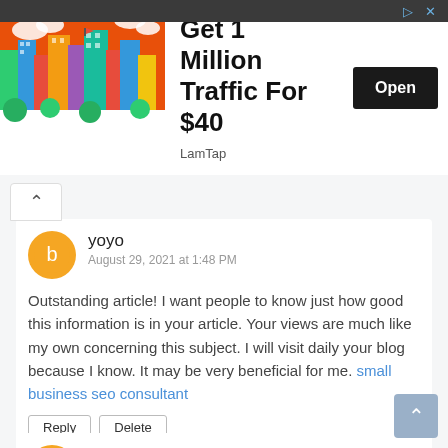[Figure (illustration): Advertisement banner: colorful illustrated cityscape on orange background on the left, with text 'Get 1 Million Traffic For $40' and 'LamTap' source label, plus a dark 'Open' button. A dark top bar with arrow/close icons spans the full width.]
yoyo
August 29, 2021 at 1:48 PM
Outstanding article! I want people to know just how good this information is in your article. Your views are much like my own concerning this subject. I will visit daily your blog because I know. It may be very beneficial for me. small business seo consultant
Reply   Delete
markthomson
September 1, 2021 at 11:41 PM
Nice post! This is a very nice blog that I will definitively come back to more times this year! Thanks for informative post. seo company in pakistan